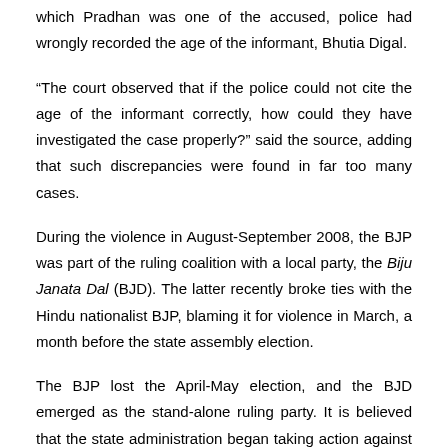which Pradhan was one of the accused, police had wrongly recorded the age of the informant, Bhutia Digal.
“The court observed that if the police could not cite the age of the informant correctly, how could they have investigated the case properly?” said the source, adding that such discrepancies were found in far too many cases.
During the violence in August-September 2008, the BJP was part of the ruling coalition with a local party, the Biju Janata Dal (BJD). The latter recently broke ties with the Hindu nationalist BJP, blaming it for violence in March, a month before the state assembly election.
The BJP lost the April-May election, and the BJD emerged as the stand-alone ruling party. It is believed that the state administration began taking action against the assailants only after the coalition split in March – six months too late, which possibly provided enough time for suspects to remove evidence and threaten witnesses.